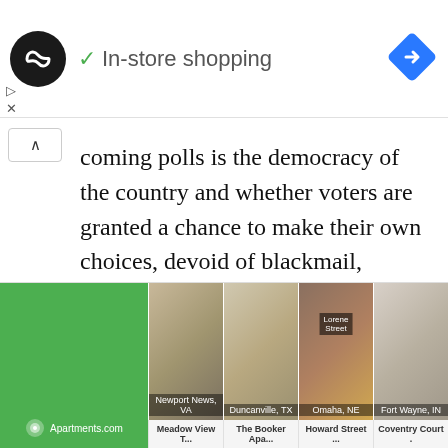[Figure (other): Advertisement banner with black circle logo containing infinity-like symbol, checkmark and 'In-store shopping' text, blue navigation diamond icon on right]
coming polls is the democracy of the country and whether voters are granted a chance to make their own choices, devoid of blackmail, threats and intimidation.
“That is the matter that is on the ballot, and that’s a matter that many Kenyans in fact if you understand a little bit of Swahili, that is what informs the current push by many Kenyans to say hatupangwingwi.
[Figure (other): Apartments.com advertisement showing green branded panel and four apartment photos labeled Newport News VA, Duncanville TX, Omaha NE, Fort Wayne IN with property names Meadow View T..., The Booker Apa..., Howard Street..., Coventry Court.]